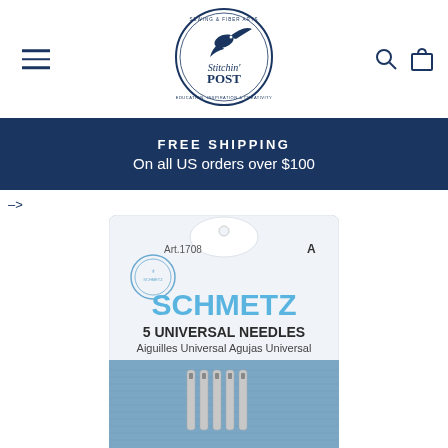Stitchin' Post - Sewing & Fiber Arts
FREE SHIPPING On all US orders over $100
->
[Figure (photo): Schmetz Art.1708 5 Universal Needles package - Aiguilles Universal, Agujas Universal. Blue cardboard backing with 5 sewing machine needles visible.]